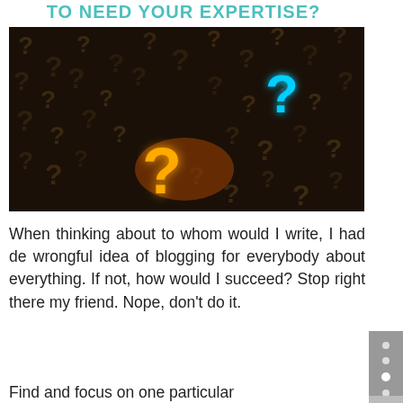TO NEED YOUR EXPERTISE?
[Figure (photo): Dark background filled with many 3D question marks, with one glowing orange question mark in the foreground center-left and one glowing blue question mark in the upper right area.]
When thinking about to whom would I write, I had de wrongful idea of blogging for everybody about everything. If not, how would I succeed? Stop right there my friend. Nope, don't do it.
Find and focus on one particular